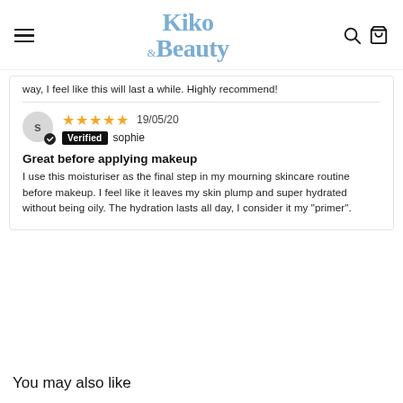Kiko & Beauty
way, I feel like this will last a while. Highly recommend!
19/05/20 Verified sophie
Great before applying makeup
I use this moisturiser as the final step in my mourning skincare routine before makeup. I feel like it leaves my skin plump and super hydrated without being oily. The hydration lasts all day, I consider it my "primer".
You may also like